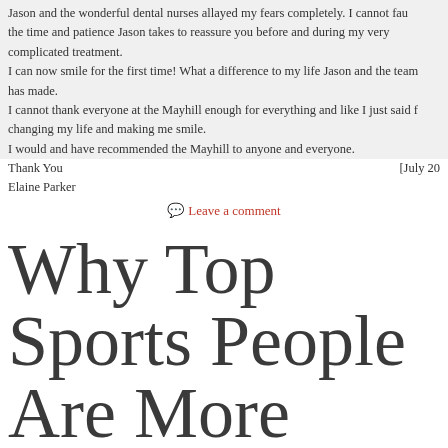Jason and the wonderful dental nurses allayed my fears completely. I cannot fault the time and patience Jason takes to reassure you before and during my very complicated treatment.
I can now smile for the first time! What a difference to my life Jason and the team has made.
I cannot thank everyone at the Mayhill enough for everything and like I just said for changing my life and making me smile.
I would and have recommended the Mayhill to anyone and everyone.
Thank You	[July 20
Elaine Parker
Leave a comment
Why Top Sports People Are More Prone to Tooth Decay
read more
Half elite British sportspeople suffer tooth decay and two thirds have gum disease, according to new research. In the largest study of its kind published by Communi... Dentistry and Oral Epidemiology, more than 350 sportspeople and over 35...